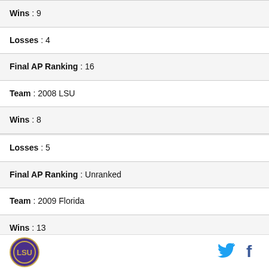| Wins : 9 |
| Losses : 4 |
| Final AP Ranking : 16 |
| Team : 2008 LSU |
| Wins : 8 |
| Losses : 5 |
| Final AP Ranking : Unranked |
| Team : 2009 Florida |
| Wins : 13 |
| Losses : 1 |
| Final AP Ranking : 3 |
[Figure (logo): LSU circular logo with gold border]
[Figure (logo): Twitter bird icon in blue]
[Figure (logo): Facebook f icon in dark blue]